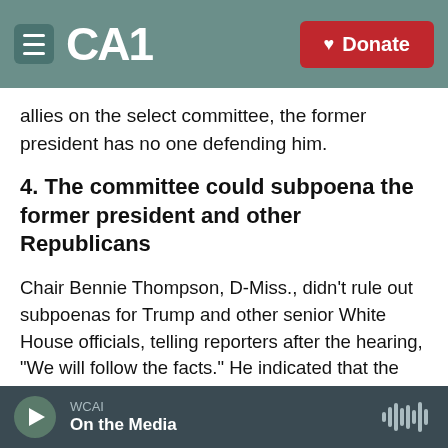CAI | Donate
allies on the select committee, the former president has no one defending him.
4. The committee could subpoena the former president and other Republicans
Chair Bennie Thompson, D-Miss., didn't rule out subpoenas for Trump and other senior White House officials, telling reporters after the hearing, "We will follow the facts." He indicated that the committee could schedule a hearing next month, even though the House is scheduled to take its regular August recess.
WCAI | On the Media